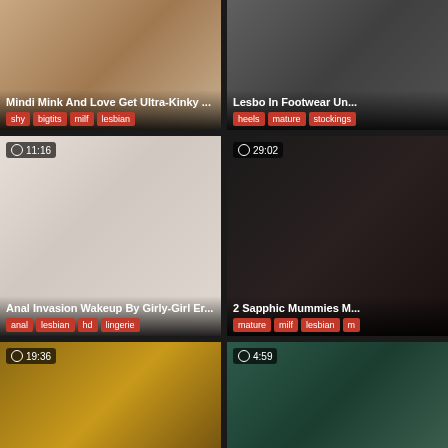[Figure (screenshot): Video thumbnail grid showing adult video website with 6 video cards arranged in 2 columns and 3 rows]
Mindi Mink And Love Get Ultra-Kinky ...
shy, bigtits, milf, lesbian
Lesbo In Footwear Un...
heels, mature, stockings
11:16 - Anal Invasion Wakeup By Girly-Girl Er...
anal, lesbian, hd, lingerie
29:02 - 2 Sapphic Mummies M...
mature, milf, lesbian, m...
19:36
4:59